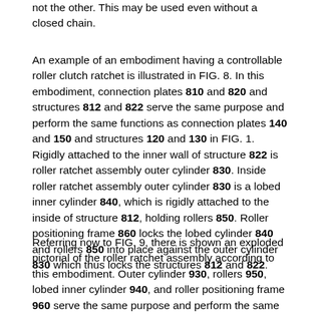not the other. This may be used even without a closed chain.
An example of an embodiment having a controllable roller clutch ratchet is illustrated in FIG. 8. In this embodiment, connection plates 810 and 820 and structures 812 and 822 serve the same purpose and perform the same functions as connection plates 140 and 150 and structures 120 and 130 in FIG. 1. Rigidly attached to the inner wall of structure 822 is roller ratchet assembly outer cylinder 830. Inside roller ratchet assembly outer cylinder 830 is a lobed inner cylinder 840, which is rigidly attached to the inside of structure 812, holding rollers 850. Roller positioning frame 860 locks the lobed cylinder 840 and rollers 850 into place against the outer cylinder 830 which thus locks the structures 812 and 822.
Referring now to FIG. 9, there is shown an exploded pictorial of the roller ratchet assembly according to this embodiment. Outer cylinder 930, rollers 950, lobed inner cylinder 940, and roller positioning frame 960 serve the same purpose and perform the same function as items 830, 850, 840, and 860 respectively, of FIG. 8. The